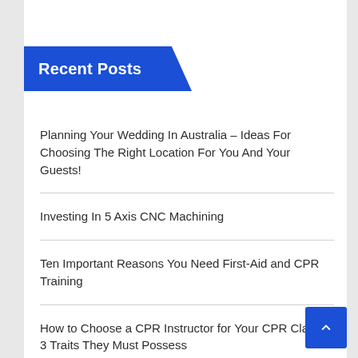Recent Posts
Planning Your Wedding In Australia – Ideas For Choosing The Right Location For You And Your Guests!
Investing In 5 Axis CNC Machining
Ten Important Reasons You Need First-Aid and CPR Training
How to Choose a CPR Instructor for Your CPR Class – 3 Traits They Must Possess
Colorado Springs Real Estate – Indigo Ranch